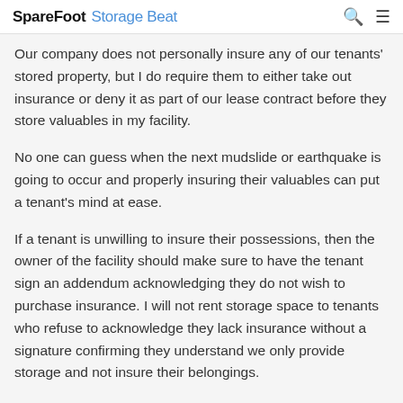SpareFoot Storage Beat
Our company does not personally insure any of our tenants' stored property, but I do require them to either take out insurance or deny it as part of our lease contract before they store valuables in my facility.
No one can guess when the next mudslide or earthquake is going to occur and properly insuring their valuables can put a tenant's mind at ease.
If a tenant is unwilling to insure their possessions, then the owner of the facility should make sure to have the tenant sign an addendum acknowledging they do not wish to purchase insurance. I will not rent storage space to tenants who refuse to acknowledge they lack insurance without a signature confirming they understand we only provide storage and not insure their belongings.